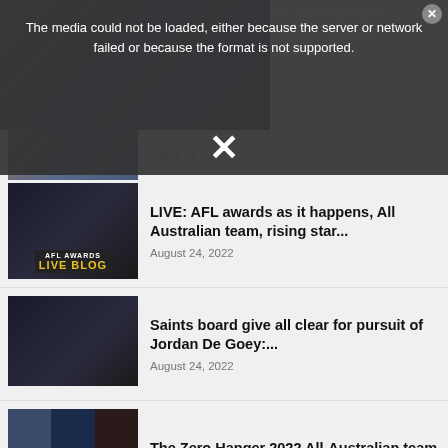[Figure (screenshot): Top partial news item with image of AFL players seated in a row, partially obscured by error modal overlay]
The media could not be loaded, either because the server or network failed or because the format is not supported.
AFLW hoping for season opener lockout
[Figure (photo): AFL Awards Live Blog thumbnail with players in dark background]
LIVE: AFL awards as it happens, All Australian team, rising star...
August 24, 2022
[Figure (photo): Saints player in black and white Collingwood-style jersey gesturing on field]
Saints board give all clear for pursuit of Jordan De Goey:...
August 24, 2022
[Figure (photo): Three AFL players in different team jerseys side by side]
The Zero Hanger 2022 All-Australian team
August 24, 2022
[Figure (photo): AFL player in black and white jersey]
Cats reportedly in the running for big name recruits: AFL trade...
August 24, 2022